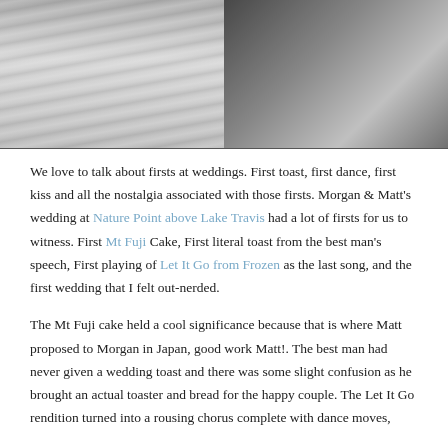[Figure (photo): Black and white split photo: left side shows a bride in a draped strapless wedding gown, right side shows a close-up of lace detail on the wedding dress back.]
We love to talk about firsts at weddings. First toast, first dance, first kiss and all the nostalgia associated with those firsts. Morgan & Matt's wedding at Nature Point above Lake Travis had a lot of firsts for us to witness. First Mt Fuji Cake, First literal toast from the best man's speech, First playing of Let It Go from Frozen as the last song, and the first wedding that I felt out-nerded.
The Mt Fuji cake held a cool significance because that is where Matt proposed to Morgan in Japan, good work Matt!. The best man had never given a wedding toast and there was some slight confusion as he brought an actual toaster and bread for the happy couple. The Let It Go rendition turned into a rousing chorus complete with dance moves,